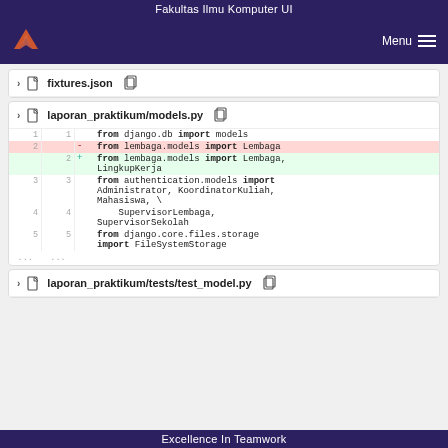Fakultas Ilmu Komputer UI
[Figure (screenshot): GitLab navbar with logo and Menu button on dark purple background]
fixtures.json file header with chevron and copy icon
laporan_praktikum/models.py file diff view showing code changes:
1 1   from django.db import models
2   - from lembaga.models import Lembaga
  2 + from lembaga.models import Lembaga, LingkupKerja
3 3   from authentication.models import Administrator, KoordinatorKuliah, Mahasiswa, \
4 4       SupervisorLembaga, SupervisorSekolah
5 5   from django.core.files.storage import FileSystemStorage
... ...
laporan_praktikum/tests/test_model.py file header (partially visible)
Excellence In Teamwork